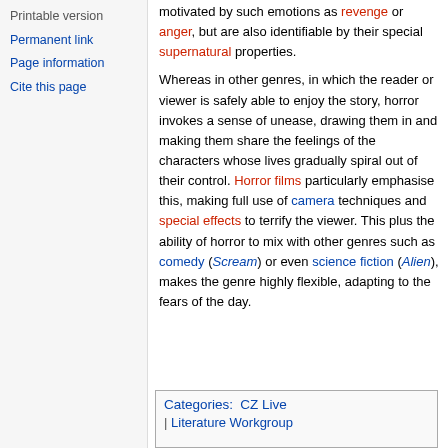Printable version
Permanent link
Page information
Cite this page
motivated by such emotions as revenge or anger, but are also identifiable by their special supernatural properties.
Whereas in other genres, in which the reader or viewer is safely able to enjoy the story, horror invokes a sense of unease, drawing them in and making them share the feelings of the characters whose lives gradually spiral out of their control. Horror films particularly emphasise this, making full use of camera techniques and special effects to terrify the viewer. This plus the ability of horror to mix with other genres such as comedy (Scream) or even science fiction (Alien), makes the genre highly flexible, adapting to the fears of the day.
Categories: CZ Live | Literature Workgroup